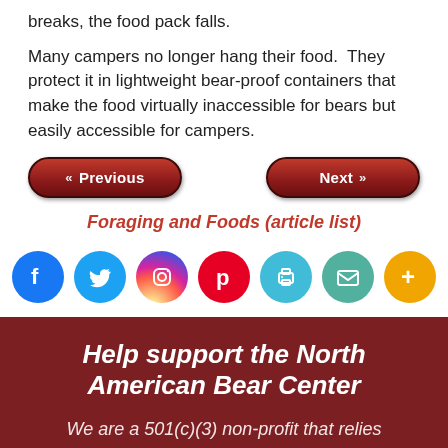breaks, the food pack falls.
Many campers no longer hang their food.  They protect it in lightweight bear-proof containers that make the food virtually inaccessible for bears but easily accessible for campers.
[Figure (other): Navigation buttons: Previous (left) and Next (right), styled as red rounded pill buttons with arrows]
Foraging and Foods (article list)
[Figure (other): Social media sharing icons: Facebook, Twitter, Instagram, Pinterest, Print, Email, More — rendered as colored circles with white icons]
Help support the North American Bear Center
We are a 501(c)(3) non-profit that relies